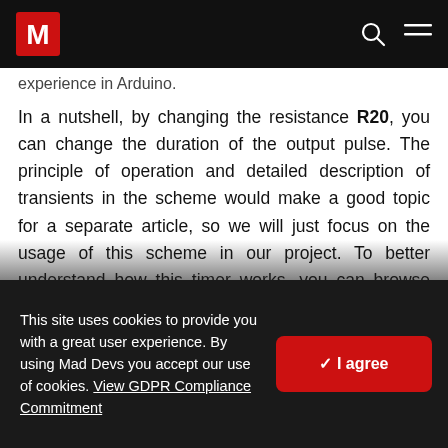M [logo] [search icon] [hamburger menu]
experience in Arduino.
In a nutshell, by changing the resistance R20, you can change the duration of the output pulse. The principle of operation and detailed description of transients in the scheme would make a good topic for a separate article, so we will just focus on the usage of this scheme in our project. To better understand how this timer works, you can browse websites specializing in electronics, for example here. The timer reacts to the fall of the pulse, it means that it will start working when the button is pressed, not released. We will consider the calculation
This site uses cookies to provide you with a great user experience. By using Mad Devs you accept our use of cookies. View GDPR Compliance Commitment
✓ I agree